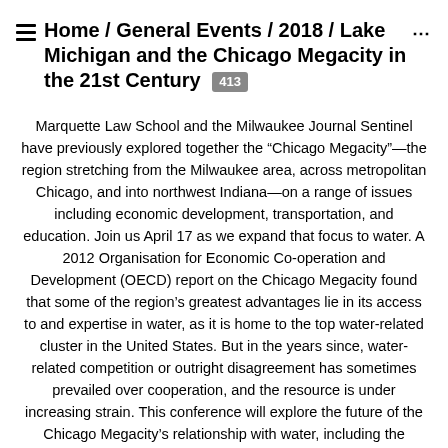Home / General Events / 2018 / Lake Michigan and the Chicago Megacity in the 21st Century 413
Marquette Law School and the Milwaukee Journal Sentinel have previously explored together the “Chicago Megacity”—the region stretching from the Milwaukee area, across metropolitan Chicago, and into northwest Indiana—on a range of issues including economic development, transportation, and education. Join us April 17 as we expand that focus to water. A 2012 Organisation for Economic Co-operation and Development (OECD) report on the Chicago Megacity found that some of the region’s greatest advantages lie in its access to and expertise in water, as it is home to the top water-related cluster in the United States. But in the years since, water-related competition or outright disagreement has sometimes prevailed over cooperation, and the resource is under increasing strain. This conference will explore the future of the Chicago Megacity’s relationship with water, including the challenges and opportunities the region faces. This requires a special focus on interactions with Lake Michigan, the dominant geographic feature of the region.